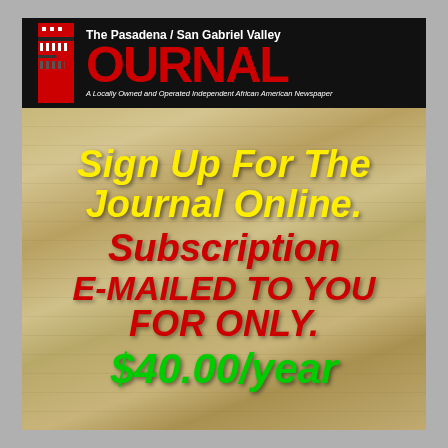[Figure (logo): The Pasadena / San Gabriel Valley JOURNAL newspaper logo on black background with large red J and white text]
Sign Up For The Journal Online. Subscription E-MAILED TO YOU FOR ONLY. $40.00/year